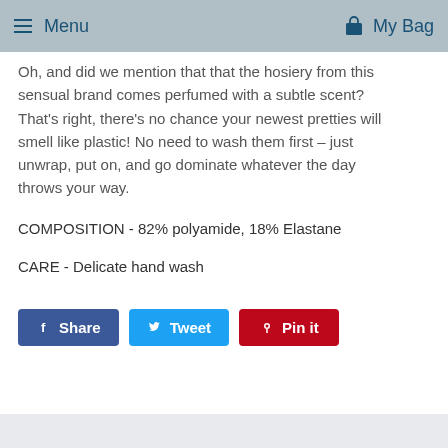Menu   My Bag
Oh, and did we mention that that the hosiery from this sensual brand comes perfumed with a subtle scent? That's right, there's no chance your newest pretties will smell like plastic! No need to wash them first – just unwrap, put on, and go dominate whatever the day throws your way.
COMPOSITION - 82% polyamide, 18% Elastane
CARE - Delicate hand wash
Share   Tweet   Pin it